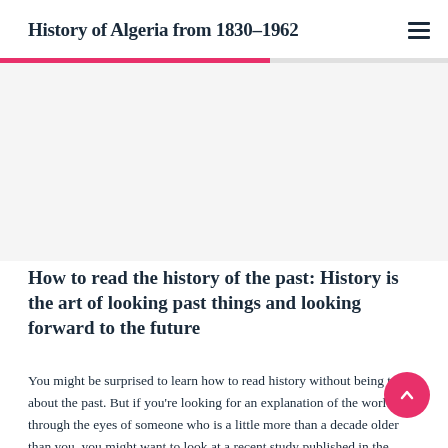History of Algeria from 1830–1962
How to read the history of the past: History is the art of looking past things and looking forward to the future
You might be surprised to learn how to read history without being told about the past. But if you're looking for an explanation of the world through the eyes of someone who is a little more than a decade older than you, you might want to look at a recent study published in the journal History: The authors of the study looked at